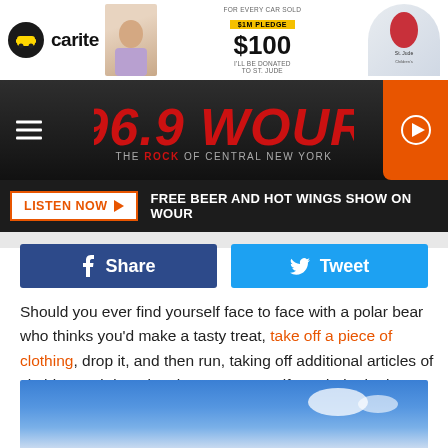[Figure (screenshot): Carite advertisement banner with logo, person, $1M pledge, $100 donation per car sold to St. Jude]
[Figure (logo): 96.9 WOUR - The Rock of Central New York radio station banner with hamburger menu and play button]
[Figure (screenshot): Listen Now button and Free Beer and Hot Wings Show on WOUR label bar]
[Figure (screenshot): Facebook Share and Twitter Tweet buttons]
Should you ever find yourself face to face with a polar bear who thinks you'd make a tasty treat, take off a piece of clothing, drop it, and then run, taking off additional articles of clothing and dropping them as you go if needed. The bear will stop to inspect and sniff each piece of clothing, giving you more time to get to safety.
[Figure (photo): Blue sky with white clouds and partial circular object visible at bottom]